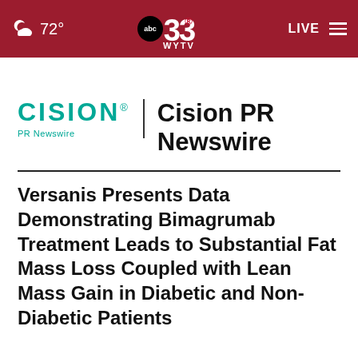☁ 72° | ABC 33 WYTV | LIVE
[Figure (logo): Cision PR Newswire logo with teal CISION wordmark and 'PR Newswire' subtitle, separated by vertical bar from 'Cision PR Newswire' bold text]
Versanis Presents Data Demonstrating Bimagrumab Treatment Leads to Substantial Fat Mass Loss Coupled with Lean Mass Gain in Diabetic and Non-Diabetic Patients